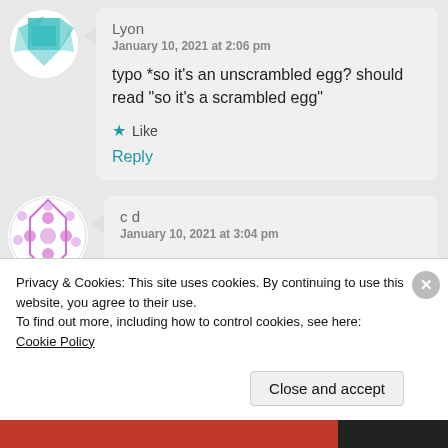Lyon
January 10, 2021 at 2:06 pm
typo *so it’s an unscrambled egg? should read “so it’s a scrambled egg”
★ Like
Reply
c d
January 10, 2021 at 3:04 pm
Privacy & Cookies: This site uses cookies. By continuing to use this website, you agree to their use.
To find out more, including how to control cookies, see here: Cookie Policy
Close and accept